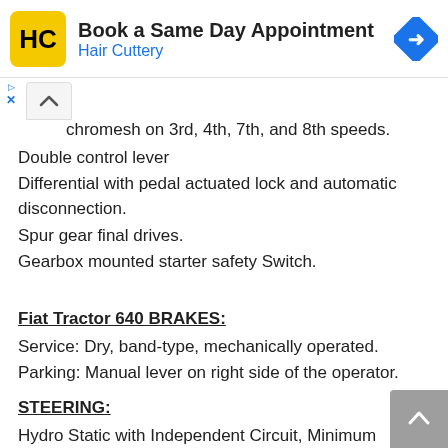[Figure (screenshot): Hair Cuttery advertisement banner with yellow HC logo, 'Book a Same Day Appointment' text, 'Hair Cuttery' subtitle in blue, and a blue navigation arrow icon]
chromesh on 3rd, 4th, 7th, and 8th speeds.
Double control lever
Differential with pedal actuated lock and automatic disconnection.
Spur gear final drives.
Gearbox mounted starter safety Switch.
Fiat Tractor 640 BRAKES:
Service: Dry, band-type, mechanically operated.
Parking: Manual lever on right side of the operator.
STEERING:
Hydro Static with Independent Circuit, Minimum turning radius:
– with brakes: 3,400 mm